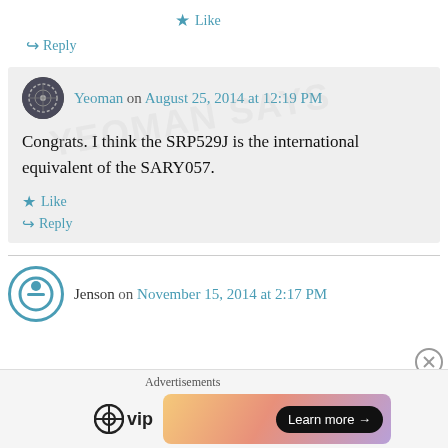★ Like
↪ Reply
Yeoman on August 25, 2014 at 12:19 PM
Congrats. I think the SRP529J is the international equivalent of the SARY057.
★ Like
↪ Reply
Jenson on November 15, 2014 at 2:17 PM
[Figure (infographic): Advertisement bar with WordPress VIP logo and a gradient banner with Learn more button]